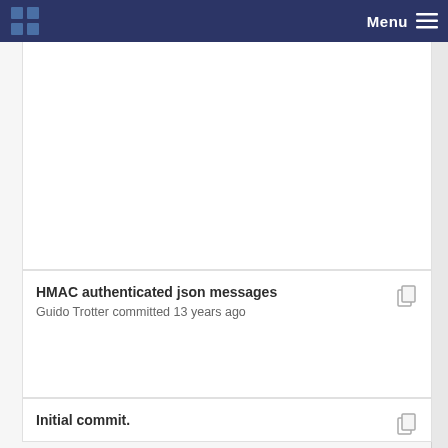Menu
HMAC authenticated json messages
Guido Trotter committed 13 years ago
Initial commit.